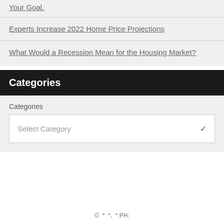Your Goal.
Experts Increase 2022 Home Price Projections
What Would a Recession Mean for the Housing Market?
Categories
Categories
Select Category
© * *, * PH: